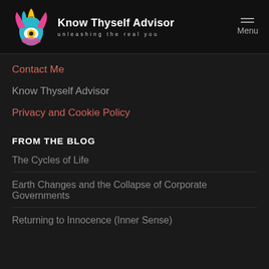Know Thyself Advisor — unleashing the real you
Contact Me
Know Thyself Advisor
Privacy and Cookie Policy
FROM THE BLOG
The Cycles of Life
Earth Changes and the Collapse of Corporate Governments
Returning to Innocence (Inner Sense)